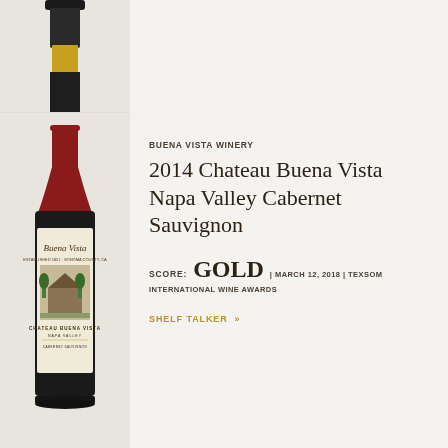[Figure (photo): Partial wine bottle top visible at top-left, cropped, on beige background]
[Figure (photo): Full wine bottle: Buena Vista 2014 Chateau Buena Vista Napa Valley Cabernet Sauvignon, red capsule, cream label with estate illustration]
BUENA VISTA WINERY
2014 Chateau Buena Vista Napa Valley Cabernet Sauvignon
SCORE: GOLD | MARCH 12, 2018 | TEXSOM INTERNATIONAL WINE AWARDS
SHELF TALKER »